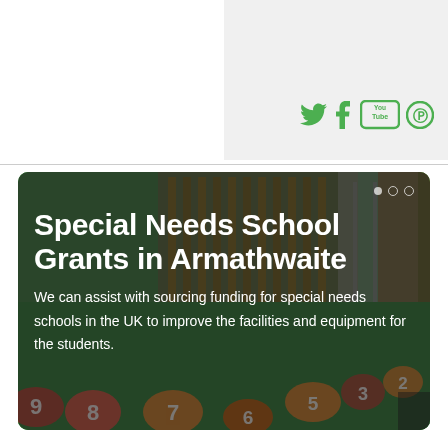[Figure (other): Social media icons: Twitter, Tumblr, YouTube, Pinterest displayed in green in the top right area of the page]
[Figure (photo): Hero banner photo of a school playground with green rubber flooring with numbered shapes and wooden climbing equipment. Dark semi-transparent overlay with text overlay showing title and description about Special Needs School Grants in Armathwaite.]
Special Needs School Grants in Armathwaite
We can assist with sourcing funding for special needs schools in the UK to improve the facilities and equipment for the students.